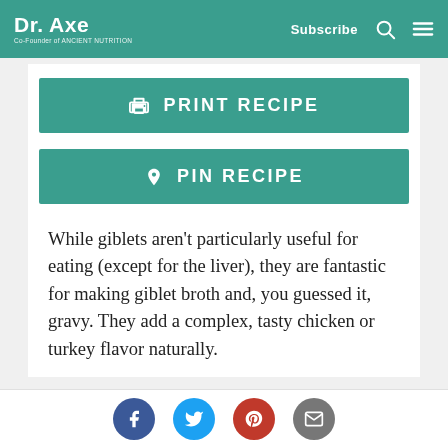Dr. Axe | Co-Founder of Ancient Nutrition | Subscribe
PRINT RECIPE
PIN RECIPE
While giblets aren't particularly useful for eating (except for the liver), they are fantastic for making giblet broth and, you guessed it, gravy. They add a complex, tasty chicken or turkey flavor naturally.
Social share icons: Facebook, Twitter, Pinterest, Email